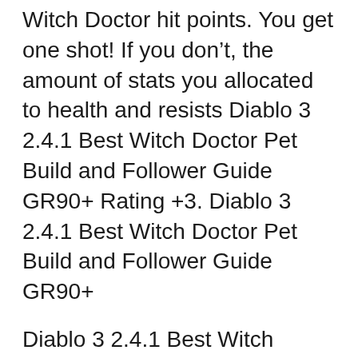Witch Doctor hit points. You get one shot! If you don't, the amount of stats you allocated to health and resists Diablo 3 2.4.1 Best Witch Doctor Pet Build and Follower Guide GR90+ Rating +3. Diablo 3 2.4.1 Best Witch Doctor Pet Build and Follower Guide GR90+
Diablo 3 2.4.1 Best Witch Doctor Pet Build and Follower Guide GR90+ Rating +3. Diablo 3 2.4.1 Best Witch Doctor Pet Build and Follower Guide GR90+ Witch Doctor beginner guide for leveling, This build is presented to you by Deadset, one of the very few professional Diablo 3 players.
2018-10-06В В· Diablo 3 Guides. The BIG Thorns Guide; Witch Doctor 1-60 Gem Levelling, Tips & Tricks; Path of Exile Builds. Witch Doctor Builds